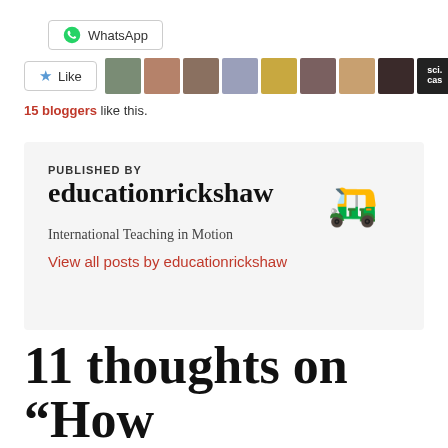WhatsApp
Like
15 bloggers like this.
PUBLISHED BY
educationrickshaw

International Teaching in Motion
View all posts by educationrickshaw
11 thoughts on “How